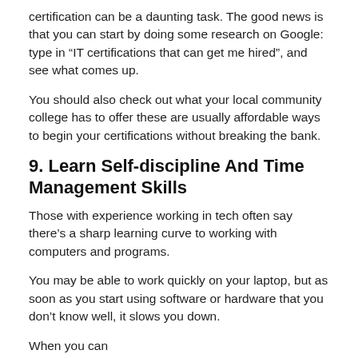certification can be a daunting task. The good news is that you can start by doing some research on Google: type in “IT certifications that can get me hired”, and see what comes up.
You should also check out what your local community college has to offer these are usually affordable ways to begin your certifications without breaking the bank.
9. Learn Self-discipline And Time Management Skills
Those with experience working in tech often say there’s a sharp learning curve to working with computers and programs.
You may be able to work quickly on your laptop, but as soon as you start using software or hardware that you don’t know well, it slows you down.
When you can...